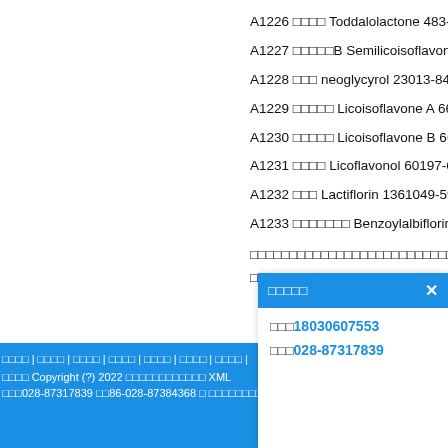A1226 □□□□ Toddalolactone 483-90-9 H...
A1227 □□□□□B Semilicoisoflavone B 1...
A1228 □□□ neoglycyrol 23013-84-5 HR...
A1229 □□□□□ Licoisoflavone A 66056-1...
A1230 □□□□□ Licoisoflavone B 66056-3...
A1231 □□□□ Licoflavonol 60197-60-6 H...
A1232 □□□ Lactiflorin 1361049-59-3 H...
A1233 □□□□□□□ Benzoylalbiflorin 1841...
□□□□□□□□□□□□□□□□□□□□□□□□□□□□□□□□□□□□□...
□□□□□□□□□□□□□□□□□□□□□□□□□□□□□□□□□□□□□...
□□□□ | □□□□ | □□□□ | □□□□ | □□□□ | □□□□ | □□□□ | Copyright (?) 2022 □□□□□□□□□□□□ XML □□□028-87317839 □□86-028-87384368 □ □□□□□□□□□□□□□
[Figure (screenshot): Popup dialog with blue header showing Chinese characters and close X button, body showing phone numbers: 18030607553 and 028-87317839]